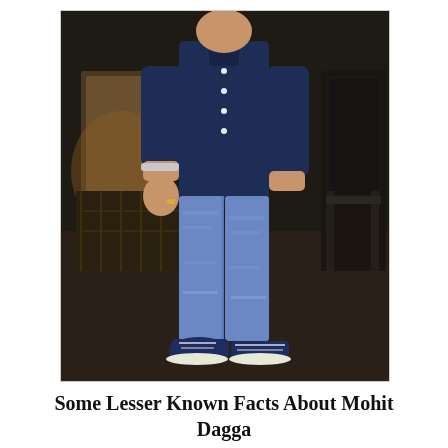[Figure (photo): A man standing full-body, wearing a dark navy blue long-sleeve button-up shirt, light blue distressed jeans, and dark navy blue boat shoes/sneakers. He has a bracelet on his left wrist and a ring on his right hand. One hand is in his pocket. Background shows chairs and dim indoor/outdoor setting.]
Some Lesser Known Facts About Mohit Dagga